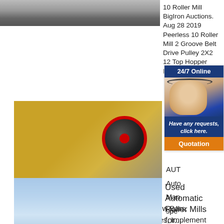[Figure (photo): Top strip image of industrial roller mill machinery, dark metal structures]
10 Roller Mill BigIron Auctions. Aug 28 2019 Peerless 10 Roller Mill 2 Groove Belt Drive Pulley 2X2 12 Top Hopper Includes Parts
[Figure (photo): Large yellow industrial jaw crusher machine in a factory with overhead crane, showing black and red flywheel pulley. Email:lmzgvip@gmail.com overlay text.]
[Figure (photo): 24/7 Online support widget showing a woman with headset wearing blue uniform, with 'Have any requests, click here.' tagline and orange Quotation button]
OPE... Fee... Equ...
AUT... Auto... Man... spe...
manufacturing Roller Mills, Hammer Mills, Tow Bars, Goodhitch Hitches, Kabkaddy Tractor Shelves, Implement Guidance System's, Weight Distribution Hitches and ATV Carriers. Here you will find information on our product line.
[Figure (photo): Bottom partial image showing sky with clouds, blue tones]
Used Automatic Roller Mills for...